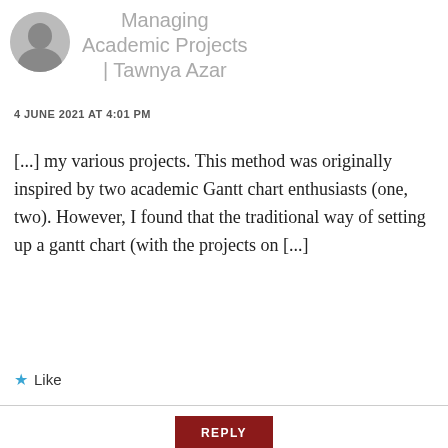Managing Academic Projects | Tawnya Azar
4 JUNE 2021 AT 4:01 PM
[...] my various projects. This method was originally inspired by two academic Gantt chart enthusiasts (one, two). However, I found that the traditional way of setting up a gantt chart (with the projects on [...]
Like
REPLY